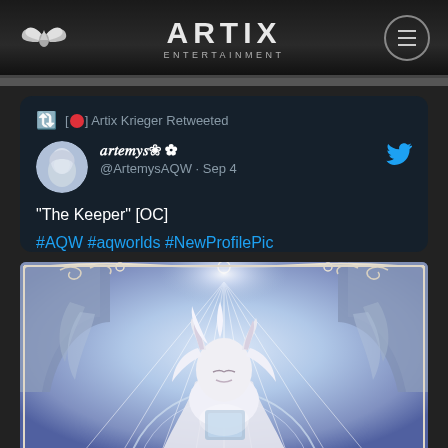ARTIX ENTERTAINMENT
🔃 [🔴] Artix Krieger Retweeted
𝑎𝑟𝑡𝑒𝑚𝑦𝑠❀ @ArtemysAQW · Sep 4
"The Keeper" [OC]

#AQW #aqworlds #NewProfilePic
[Figure (illustration): Fantasy illustration of a white-haired character with cat ears in an Art Nouveau style frame, surrounded by radiant light beams, soft blues and purples, ornate decorative border with scrollwork]